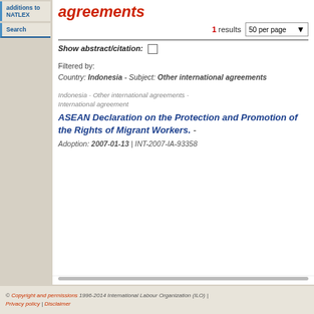additions to NATLEX
Search
agreements
1 results   50 per page
Show abstract/citation:
Filtered by:
Country: Indonesia - Subject: Other international agreements
Indonesia - Other international agreements - International agreement
ASEAN Declaration on the Protection and Promotion of the Rights of Migrant Workers. - Adoption: 2007-01-13 | INT-2007-IA-93358
© Copyright and permissions 1996-2014 International Labour Organization (ILO) | Privacy policy | Disclaimer